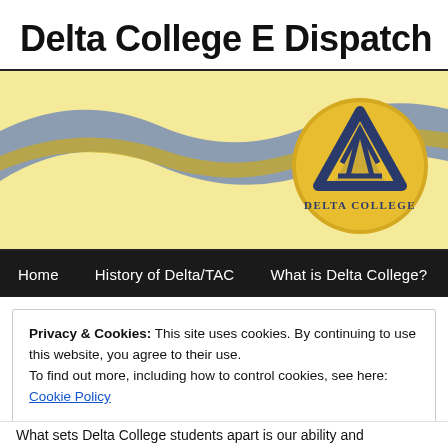Delta College E Dispatch
[Figure (logo): Delta College banner with yellow background, blue ribbon wave, and circular gold Delta College logo with triangle symbol and text 'Delta College']
[Figure (screenshot): Navigation bar with black background showing links: Home, History of Delta/TAC, What is Delta College?]
Privacy & Cookies: This site uses cookies. By continuing to use this website, you agree to their use.
To find out more, including how to control cookies, see here: Cookie Policy
Close and accept
What sets Delta College students apart is our ability and